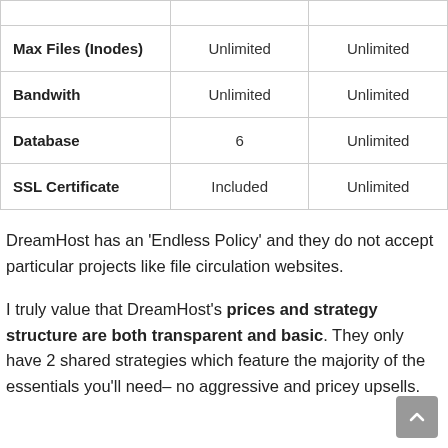|  | Col1 | Col2 |
| --- | --- | --- |
| Max Files (Inodes) | Unlimited | Unlimited |
| Bandwith | Unlimited | Unlimited |
| Database | 6 | Unlimited |
| SSL Certificate | Included | Unlimited |
DreamHost has an 'Endless Policy' and they do not accept particular projects like file circulation websites.
I truly value that DreamHost's prices and strategy structure are both transparent and basic. They only have 2 shared strategies which feature the majority of the essentials you'll need– no aggressive and pricey upsells.